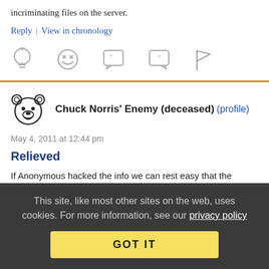incriminating files on the server.
Reply | View in chronology
[Figure (other): Row of five action icons: lightbulb, laughing face emoji, open-quote speech bubble, close-quote speech bubble, flag]
Chuck Norris' Enemy (deceased) (profile)
May 4, 2011 at 12:44 pm
Relieved
If Anonymous hacked the info we can rest easy that the
This site, like most other sites on the web, uses cookies. For more information, see our privacy policy
GOT IT